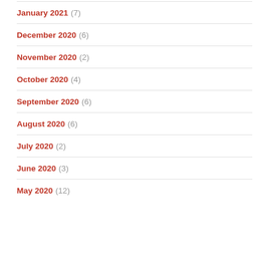January 2021 (7)
December 2020 (6)
November 2020 (2)
October 2020 (4)
September 2020 (6)
August 2020 (6)
July 2020 (2)
June 2020 (3)
May 2020 (12)